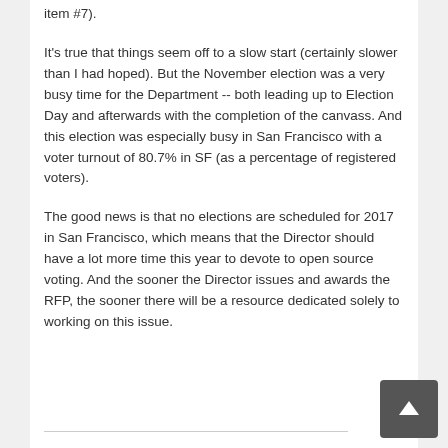item #7).
It's true that things seem off to a slow start (certainly slower than I had hoped). But the November election was a very busy time for the Department -- both leading up to Election Day and afterwards with the completion of the canvass. And this election was especially busy in San Francisco with a voter turnout of 80.7% in SF (as a percentage of registered voters).
The good news is that no elections are scheduled for 2017 in San Francisco, which means that the Director should have a lot more time this year to devote to open source voting. And the sooner the Director issues and awards the RFP, the sooner there will be a resource dedicated solely to working on this issue.